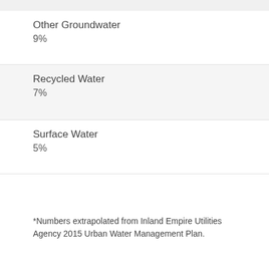Other Groundwater
9%
Recycled Water
7%
Surface Water
5%
*Numbers extrapolated from Inland Empire Utilities Agency 2015 Urban Water Management Plan.